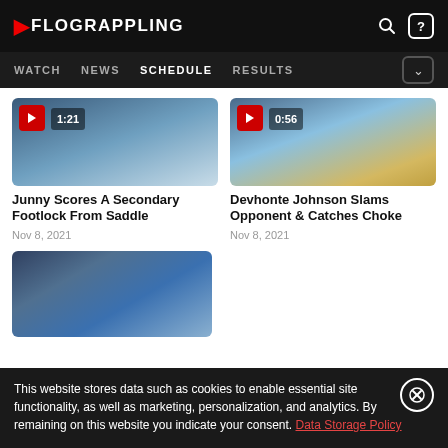FLOGRAPPLING — WATCH NEWS SCHEDULE RESULTS
[Figure (screenshot): Video thumbnail showing grappling match on blue mat, duration 1:21]
Junny Scores A Secondary Footlock From Saddle
Nov 8, 2021
[Figure (screenshot): Video thumbnail showing grappling match on blue/yellow mat, duration 0:56]
Devhonte Johnson Slams Opponent & Catches Choke
Nov 8, 2021
[Figure (photo): Thumbnail showing grappling athletes from above, no duration label]
This website stores data such as cookies to enable essential site functionality, as well as marketing, personalization, and analytics. By remaining on this website you indicate your consent. Data Storage Policy